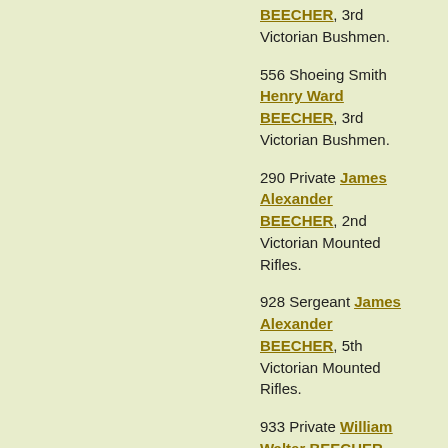BEECHER, 3rd Victorian Bushmen.
556 Shoeing Smith Henry Ward BEECHER, 3rd Victorian Bushmen.
290 Private James Alexander BEECHER, 2nd Victorian Mounted Rifles.
928 Sergeant James Alexander BEECHER, 5th Victorian Mounted Rifles.
933 Private William Walter BEECHER, 5th Victorian Mounted Rifles.
940 Trooper HenryC BEECHING, NSW Lancers.
32 Private AN BEECKEN, 1st South Australian Mounted Rifles.
121 Private William BEED, 5th Queensland Imperial Bushmen.
1756 Trooper Samuel C BEEHAG, 3rd Australian